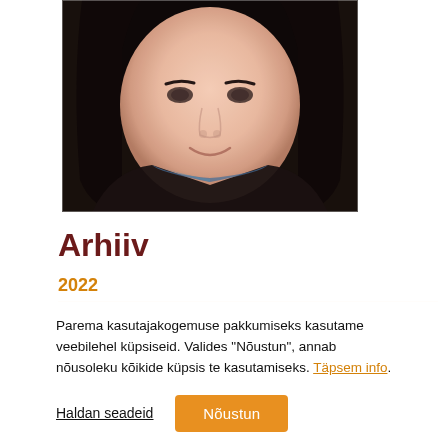[Figure (photo): Close-up portrait photo of a young woman with dark hair, smiling, wearing a dark hoodie, with a colorful scarf/clothing visible. White background border around image.]
Arhiiv
2022
Parema kasutajakogemuse pakkumiseks kasutame veebilehel küpsiseid. Valides "Nõustun", annab nõusoleku kõikide küpsis te kasutamiseks. Täpsem info.
Haldan seadeid   Nõustun